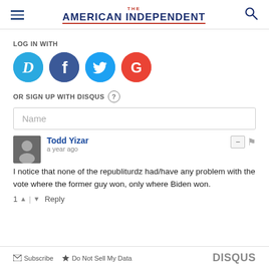THE AMERICAN INDEPENDENT
LOG IN WITH
[Figure (other): Social login icons: Disqus (D), Facebook (f), Twitter bird, Google (G)]
OR SIGN UP WITH DISQUS ?
Name
Todd Yizar
a year ago
I notice that none of the republiturdz had/have any problem with the vote where the former guy won, only where Biden won.
1 ↑ | ↓ Reply
Subscribe   Do Not Sell My Data   DISQUS